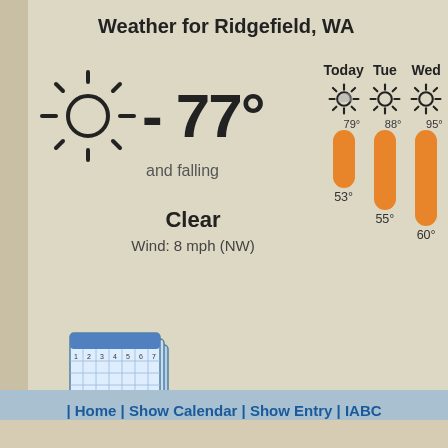Weather for Ridgefield, WA
[Figure (infographic): Sun icon with temperature reading -77° and falling, current weather display]
Clear
Wind: 8 mph (NW)
[Figure (infographic): 4-day forecast showing Today 79°/53°, Tue 88°/55°, Wed 95°/60°, Thu 89°/62° with sun icons and orange temperature bars]
[Figure (illustration): Calendar icon illustration]
| Home | Show Calendar | Show Entry | IABC
Copyright ©2008 IABCA | Design by S